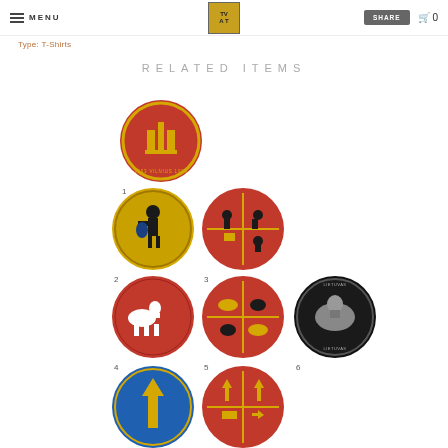MENU | [logo AT] | SHARE | cart 0
Type: T-Shirts
RELATED ITEMS
[Figure (photo): Eight circular embroidered badge pins numbered 1-8. Badge 1: red background with gold castle/pillar symbol. Badge 2: gold/yellow background with black warrior figure. Badge 3: red background quartered with black figures and gold symbols. Badge 4: red background with white horse and rider. Badge 5: red quartered background with animal/knight figures. Badge 6: black background with silver knight on horseback (LIETUVAS text). Badge 7: blue background with gold arrow. Badge 8: red quartered background with gold arrows and symbols.]